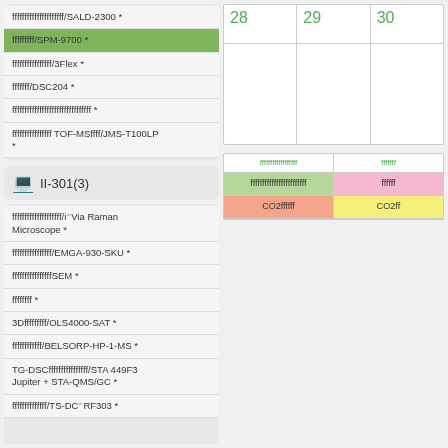ffffffffffffffffff/SALD-2300 *
fffffffff/SPM-9700 *
ffffffffffffffff/3Flex *
fffffff/DSC204 *
ffffffffffffffffffffffffffffffff *
ffffffffffffffffff TOF-MS ffff/JMS-T100LP *
II-301(3)
ffffffffffffffff/i⁻Via Raman Microscope *
ffffffffffff/EMGA-930-SKU *
fffffffffffff SEM *
ffffffff *
3D fffffffff/OLS4000-SAT *
ffffffffffff/BELSORP-HP-1-MS *
TG-DSC ffffffffffffffff/STA 449F3 Jupiter + STA-QMS/GC *
ffffffffffffff/TS-DC⁻RF303 *
| 28 | 29 | 30 |
| --- | --- | --- |
|  |  |  |
| ffffffffffffffffff | fffffff |
| --- | --- |
| ffffffffffffffffffffffff | ffffff |
| CO2 ffffff | CO2 ff |